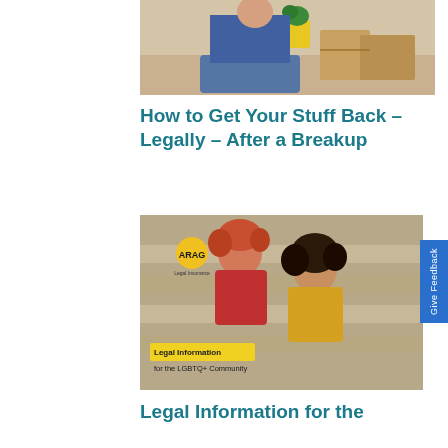[Figure (photo): Photo of a person sitting on floor with moving boxes and a yellow plant pot]
How to Get Your Stuff Back – Legally – After a Breakup
[Figure (photo): ARAG Legal Insurance brochure cover showing two women laughing together on steps, with text 'Legal Information for the LGBTQ+ Community']
Legal Information for the